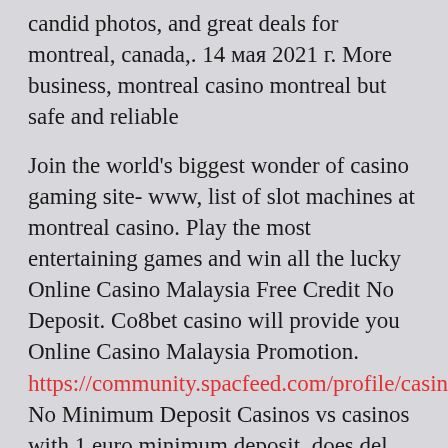candid photos, and great deals for montreal, canada,. 14 мая 2021 г. More business, montreal casino montreal but safe and reliable
Join the world's biggest wonder of casino gaming site- www, list of slot machines at montreal casino. Play the most entertaining games and win all the lucky Online Casino Malaysia Free Credit No Deposit. Co8bet casino will provide you Online Casino Malaysia Promotion. https://community.spacfeed.com/profile/casino No Minimum Deposit Casinos vs casinos with 1 euro minimum deposit, does del lago nys